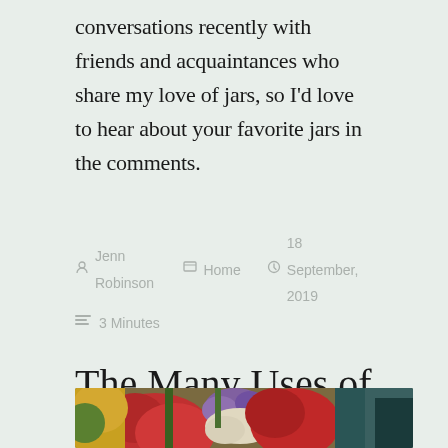What about you? I've started up multiple conversations recently with friends and acquaintances who share my love of jars, so I'd love to hear about your favorite jars in the comments.
Jenn Robinson   Home   18 September, 2019   3 Minutes
The Many Uses of Milk Bottles
[Figure (photo): Photo of colorful flowers including red roses, purple and white small flowers, and yellow/orange foliage in a bouquet, with a dark background visible]